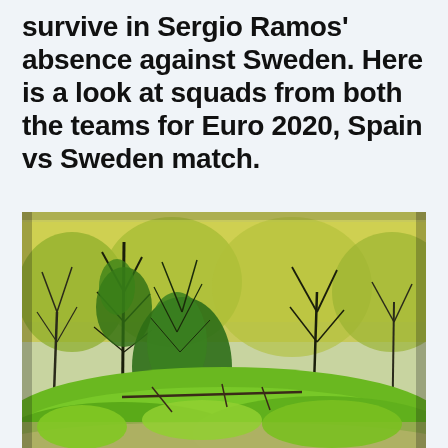survive in Sergio Ramos' absence against Sweden. Here is a look at squads from both the teams for Euro 2020, Spain vs Sweden match.
[Figure (photo): Outdoor nature photograph showing dense green shrubs and small trees with yellow-green foliage in the background, and bright green moss covering the ground in the foreground. The scene appears to be a forest or garden setting.]